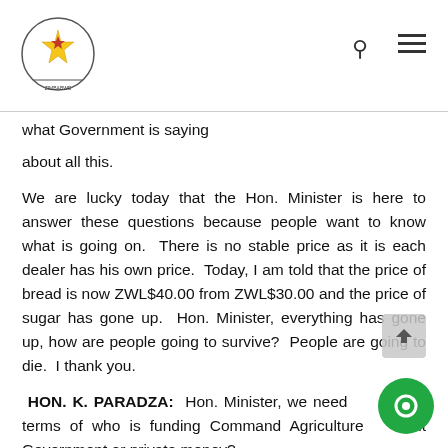Parliament of Zimbabwe header with logo, search icon, and menu icon
what Government is saying
about all this.
We are lucky today that the Hon. Minister is here to answer these questions because people want to know what is going on. There is no stable price as it is each dealer has his own price. Today, I am told that the price of bread is now ZWL$40.00 from ZWL$30.00 and the price of sugar has gone up. Hon. Minister, everything has gone up, how are people going to survive? People are going to die. I thank you.
HON. K. PARADZA: Hon. Minister, we need [in] terms of who is funding Command Agriculture [is] it Government or private money?